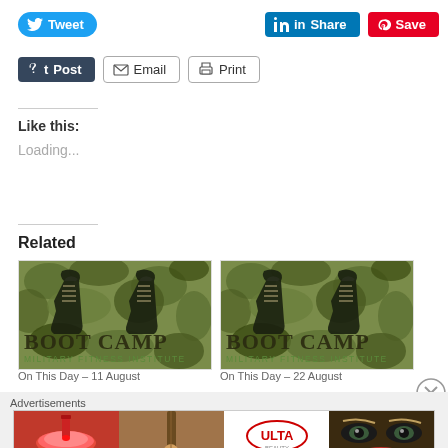[Figure (screenshot): Social share buttons row 1: Tweet (Twitter blue), Share (LinkedIn blue), Save (Pinterest red)]
[Figure (screenshot): Social share buttons row 2: Post (Tumblr dark), Email, Print]
Like this:
Loading...
Related
[Figure (illustration): Boot Camp Military Fitness Institute logo image with camouflage boots - first related article]
[Figure (illustration): Boot Camp Military Fitness Institute logo image with camouflage boots - second related article]
On This Day – 11 August
On This Day – 22 August
Advertisements
[Figure (photo): Ulta Beauty advertisement banner showing makeup imagery with SHOP NOW call to action]